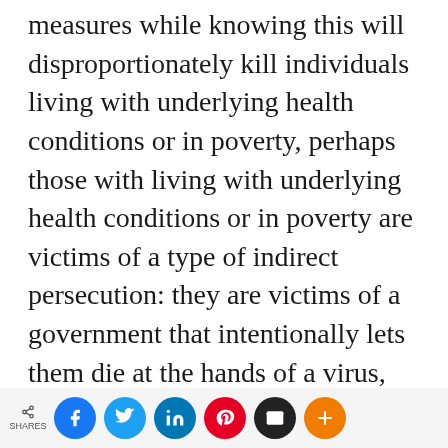measures while knowing this will disproportionately kill individuals living with underlying health conditions or in poverty, perhaps those with living with underlying health conditions or in poverty are victims of a type of indirect persecution: they are victims of a government that intentionally lets them die at the hands of a virus, similar to victims of a government that intentionally lets them die at the hands of a militia. Nonetheless, assuming that many victims of Covid-19 are not victims of persecution, then many will not have a
SHARES [social share buttons: Facebook, Twitter, LinkedIn, Pinterest, Email, More]